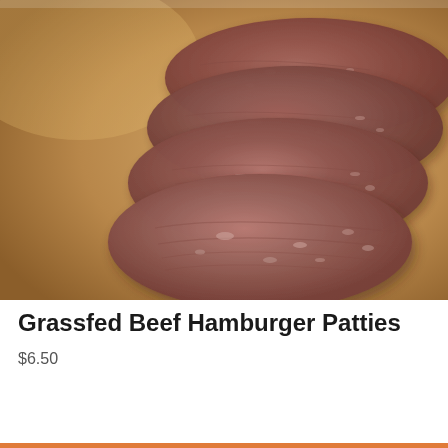[Figure (photo): Overhead photo of four raw grassfed beef hamburger patties stacked/overlapping diagonally on a brown butcher paper or wooden surface. The patties are circular, roughly textured raw ground beef, dark reddish-brown in color.]
Grassfed Beef Hamburger Patties
$6.50